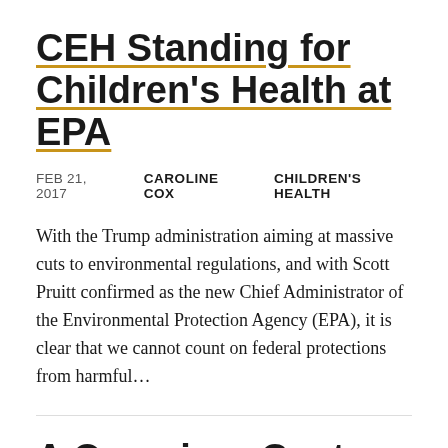CEH Standing for Children's Health at EPA
FEB 21, 2017   CAROLINE COX   CHILDREN'S HEALTH
With the Trump administration aiming at massive cuts to environmental regulations, and with Scott Pruitt confirmed as the new Chief Administrator of the Environmental Protection Agency (EPA), it is clear that we cannot count on federal protections from harmful…
A Once-in-a-Century Pesticide (that Probably